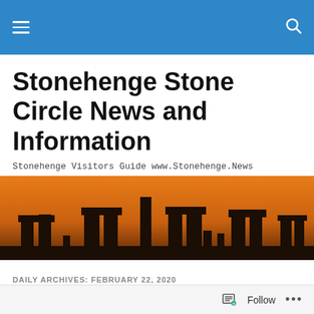Stonehenge Stone Circle News and Information — navigation bar
Stonehenge Stone Circle News and Information
Stonehenge Visitors Guide www.Stonehenge.News
[Figure (photo): Photograph of Stonehenge stone circle silhouetted against an orange sunset sky]
DAILY ARCHIVES: FEBRUARY 22, 2020
English Heritage and Stonehenge Ownership,
Follow